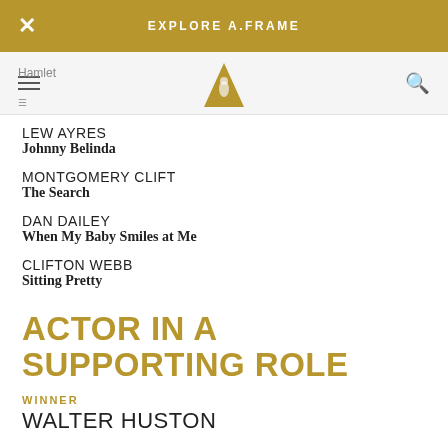EXPLORE A.FRAME
LEW AYRES
Johnny Belinda
MONTGOMERY CLIFT
The Search
DAN DAILEY
When My Baby Smiles at Me
CLIFTON WEBB
Sitting Pretty
ACTOR IN A SUPPORTING ROLE
WINNER
WALTER HUSTON